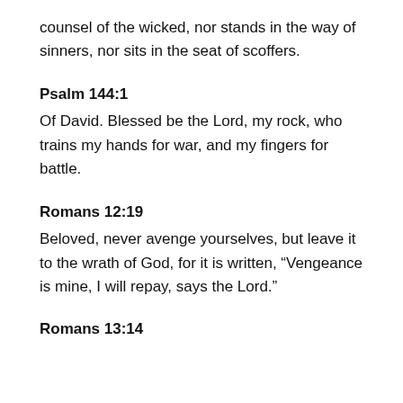counsel of the wicked, nor stands in the way of sinners, nor sits in the seat of scoffers.
Psalm 144:1
Of David. Blessed be the Lord, my rock, who trains my hands for war, and my fingers for battle.
Romans 12:19
Beloved, never avenge yourselves, but leave it to the wrath of God, for it is written, “Vengeance is mine, I will repay, says the Lord.”
Romans 13:14